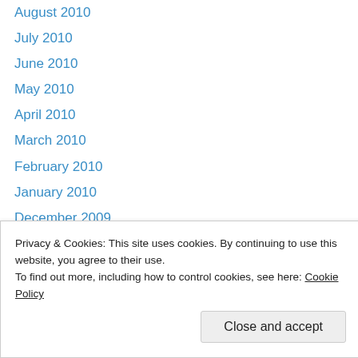August 2010
July 2010
June 2010
May 2010
April 2010
March 2010
February 2010
January 2010
December 2009
November 2009
September 2009
August 2009
July 2009
June 2009
Privacy & Cookies: This site uses cookies. By continuing to use this website, you agree to their use.
To find out more, including how to control cookies, see here: Cookie Policy